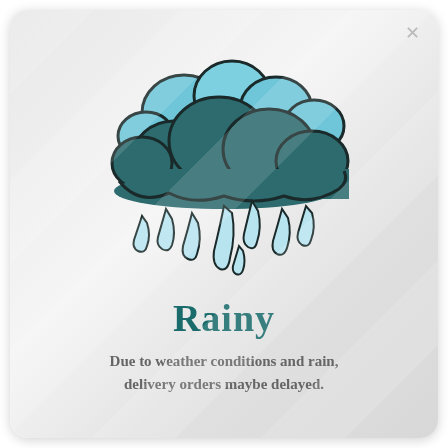[Figure (illustration): Cartoon rain cloud illustration: a dark teal cloud with lighter blue cloud puffs on top, with multiple rain drops falling below it.]
Rainy
Due to weather conditions and rain, delivery orders maybe delayed.